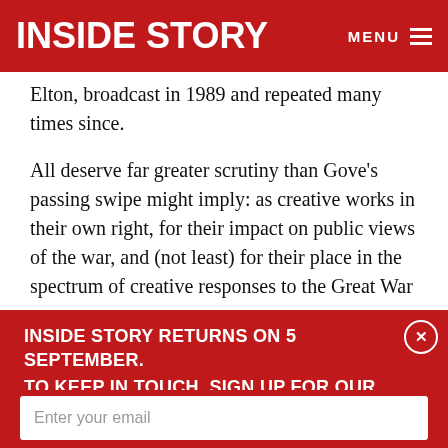INSIDE STORY    MENU
Elton, broadcast in 1989 and repeated many times since.
All deserve far greater scrutiny than Gove's passing swipe might imply: as creative works in their own right, for their impact on public views of the war, and (not least) for their place in the spectrum of creative responses to the Great War … which have acquired their own self-perpetuating
INSIDE STORY RETURNS ON 5 SEPTEMBER. TO KEEP IN TOUCH, SIGN UP FOR OUR FREE NEWSLETTER…
inheres in the broader, and much older, patterns of thinking about the war that they embody – which have acquired their own self-perpetuating
stylised portrayal of military and social…